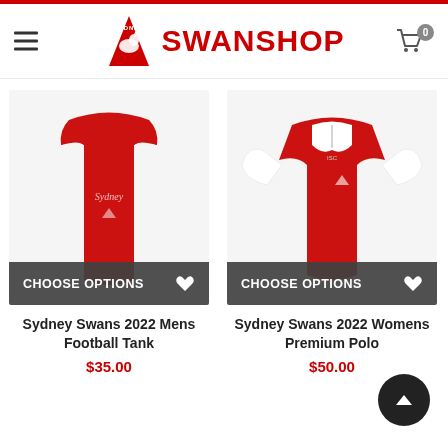Sydney Swanshop
[Figure (photo): Sydney Swans 2022 Mens Football Tank – red sleeveless jersey with Sydney Swans logo]
CHOOSE OPTIONS
Sydney Swans 2022 Mens Football Tank
$35.00
[Figure (photo): Sydney Swans 2022 Womens Premium Polo – red and white polo shirt with Sydney Swans logo]
CHOOSE OPTIONS
Sydney Swans 2022 Womens Premium Polo
$50.00